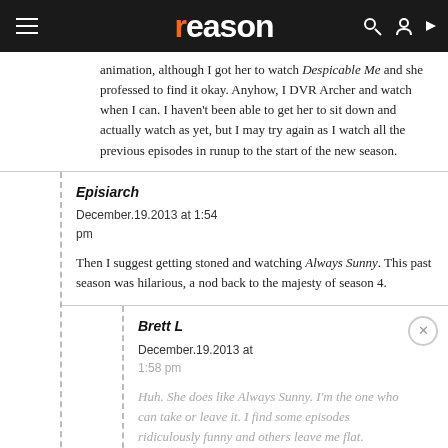reason
animation, although I got her to watch Despicable Me and she professed to find it okay. Anyhow, I DVR Archer and watch when I can. I haven't been able to get her to sit down and actually watch as yet, but I may try again as I watch all the previous episodes in runup to the start of the new season.
Episiarch
December.19.2013 at 1:54 pm

Then I suggest getting stoned and watching Always Sunny. This past season was hilarious, a nod back to the majesty of season 4.
Brett L
December.19.2013 at 1:58 pm

Huh. She does like Always Sunny. I'm the one who can take or leave it. I find some episodes ridiculously funny and others leave me flat. However, I have not been adhering to any strict drug